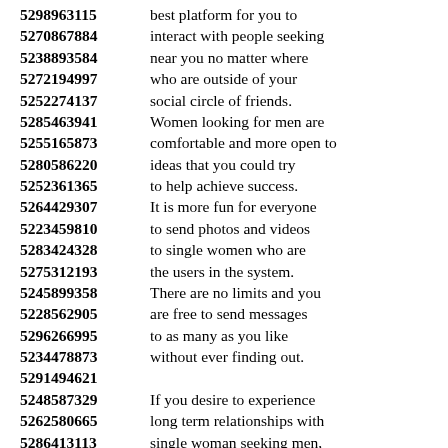5298963115 best platform for you to
5270867884 interact with people seeking
5238893584 near you no matter where
5272194997 who are outside of your
5252274137 social circle of friends.
5285463941 Women looking for men are
5255165873 comfortable and more open to
5280586220 ideas that you could try
5252361365 to help achieve success.
5264429307 It is more fun for everyone
5223459810 to send photos and videos
5283424328 to single women who are
5275312193 the users in the system.
5245899358 There are no limits and you
5228562905 are free to send messages
5296266995 to as many as you like
5234478873 without ever finding out.
5291494621
5248587329 If you desire to experience
5262580665 long term relationships with
5286413113 single woman seeking men,
5281643204 you just need to register for free.
5252281575 It's the best way to start
5242305532 a relationship because there
5248352718 is no other way than to find